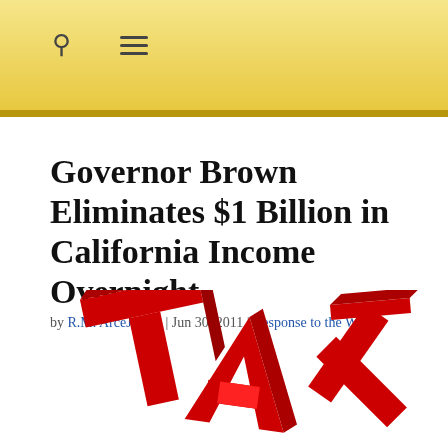Governor Brown Eliminates $1 Billion in California Income Overnight
by R.M. ArceJaeger | Jun 30, 2011 | Response to the World
[Figure (photo): Red 3D TAX letters falling/toppling, partial view cropped at bottom of page]